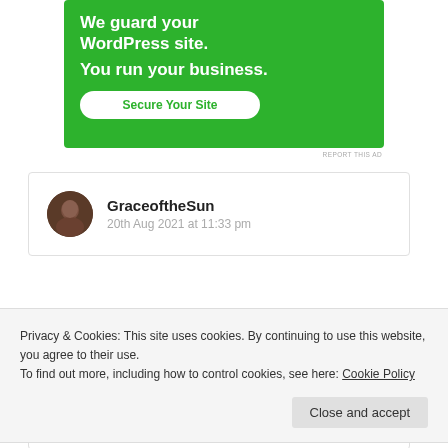[Figure (screenshot): Green advertisement banner for WordPress security service. Text reads: 'We guard your WordPress site. You run your business.' with a 'Secure Your Site' button in white with green text.]
REPORT THIS AD
GraceoftheSun
20th Aug 2021 at 11:33 pm
Privacy & Cookies: This site uses cookies. By continuing to use this website, you agree to their use. To find out more, including how to control cookies, see here: Cookie Policy
Close and accept